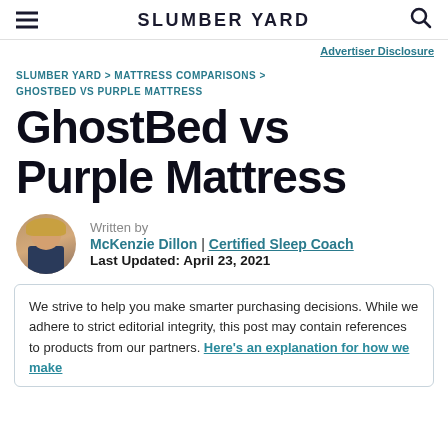SLUMBER YARD
Advertiser Disclosure
SLUMBER YARD > MATTRESS COMPARISONS > GHOSTBED VS PURPLE MATTRESS
GhostBed vs Purple Mattress
Written by McKenzie Dillon | Certified Sleep Coach Last Updated: April 23, 2021
We strive to help you make smarter purchasing decisions. While we adhere to strict editorial integrity, this post may contain references to products from our partners. Here's an explanation for how we make